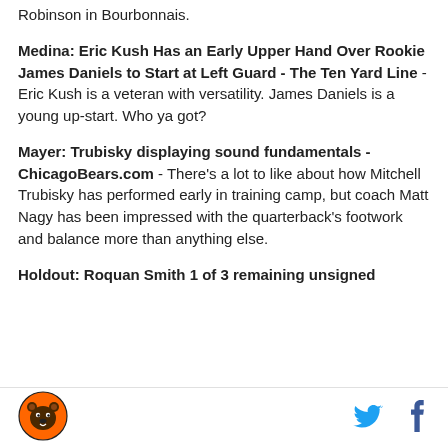Robinson in Bourbonnais.
Medina: Eric Kush Has an Early Upper Hand Over Rookie James Daniels to Start at Left Guard - The Ten Yard Line - Eric Kush is a veteran with versatility. James Daniels is a young up-start. Who ya got?
Mayer: Trubisky displaying sound fundamentals - ChicagoBears.com - There's a lot to like about how Mitchell Trubisky has performed early in training camp, but coach Matt Nagy has been impressed with the quarterback's footwork and balance more than anything else.
Holdout: Roquan Smith 1 of 3 remaining unsigned
[Figure (logo): Chicago Bears logo - orange circle with bear head illustration]
[Figure (logo): Twitter bird icon in blue]
[Figure (logo): Facebook f icon in blue]